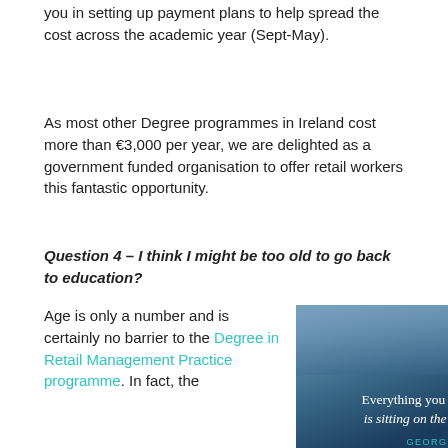you in setting up payment plans to help spread the cost across the academic year (Sept-May).
As most other Degree programmes in Ireland cost more than €3,000 per year, we are delighted as a government funded organisation to offer retail workers this fantastic opportunity.
Question 4 – I think I might be too old to go back to education?
Age is only a number and is certainly no barrier to the Degree in Retail Management Practice programme. In fact, the
[Figure (photo): Motivational quote image with blurred background showing text: 'Everything you have ever wanted, is sitting on the other side of fear.' attributed to GEORGE ADDAIR]